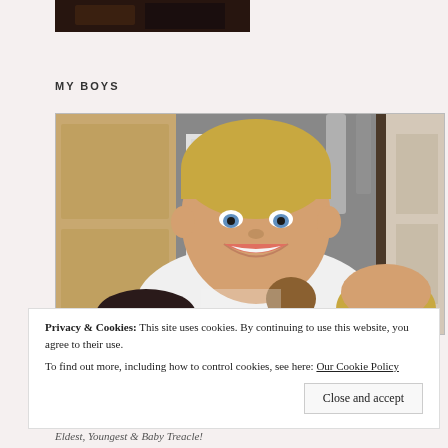[Figure (photo): Dark photograph strip at the top of the page, partially visible]
MY BOYS
[Figure (photo): Photo of a smiling young boy with short blonde hair wearing a white t-shirt, holding what appears to be a small animal. A younger child is visible in the lower right. Kitchen background.]
Privacy & Cookies: This site uses cookies. By continuing to use this website, you agree to their use.
To find out more, including how to control cookies, see here: Our Cookie Policy
Eldest, Youngest & Baby Treacle!